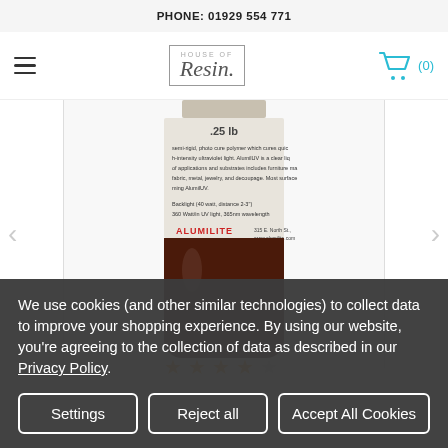PHONE: 01929 554 771
[Figure (logo): House of Resin logo in a rectangular border, with decorative italic script]
[Figure (photo): Back label of Alumilite UV photo cure polymer resin bottle, dark brown glass bottle showing product label text and ALUMILITE branding, 25 lb size]
[Figure (other): Star rating: 4 out of 5 stars in orange]
We use cookies (and other similar technologies) to collect data to improve your shopping experience. By using our website, you're agreeing to the collection of data as described in our Privacy Policy.